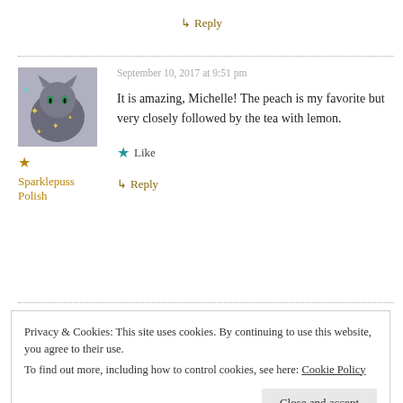↳ Reply
September 10, 2017 at 9:51 pm
[Figure (photo): Avatar image of a gray cat with sparkle effects]
★ Sparklepuss Polish
It is amazing, Michelle! The peach is my favorite but very closely followed by the tea with lemon.
★ Like
↳ Reply
Privacy & Cookies: This site uses cookies. By continuing to use this website, you agree to their use.
To find out more, including how to control cookies, see here: Cookie Policy
Close and accept